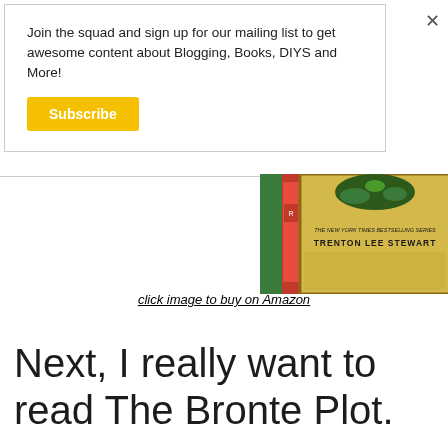Join the squad and sign up for our mailing list to get awesome content about Blogging, Books, DIYS and More!
Subscribe
[Figure (photo): Partial view of a book cover showing text 'THE NEW YORK TIMES BESTSELLING SERIES TRENTON LEE STEWART']
click image to buy on Amazon
Next, I really want to read The Bronte Plot.